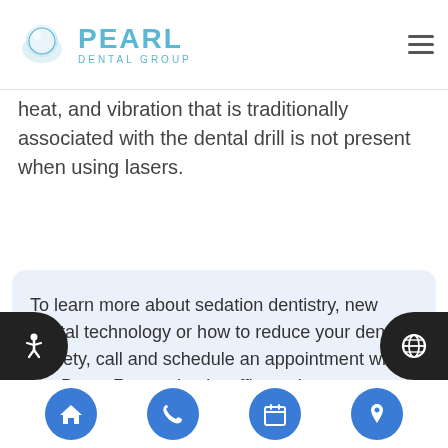[Figure (logo): Pearl Dental Group logo with pearl icon and teal text]
heat, and vibration that is traditionally associated with the dental drill is not present when using lasers.
To learn more about sedation dentistry, new dental technology or how to reduce your dental anxiety, call and schedule an appointment with our Baton Rouge dentist office today.
[Figure (infographic): Bottom navigation bar with four blue circular icon buttons: home, phone, calendar, and location pin]